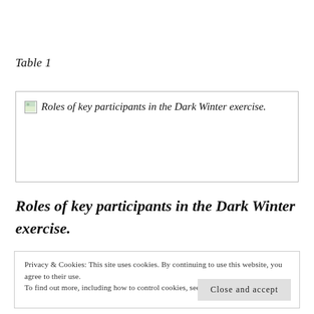Table 1
[Figure (table-as-image): Broken image thumbnail with alt text: Roles of key participants in the Dark Winter exercise.]
Roles of key participants in the Dark Winter exercise.
Privacy & Cookies: This site uses cookies. By continuing to use this website, you agree to their use.
To find out more, including how to control cookies, see here: Cookie Policy